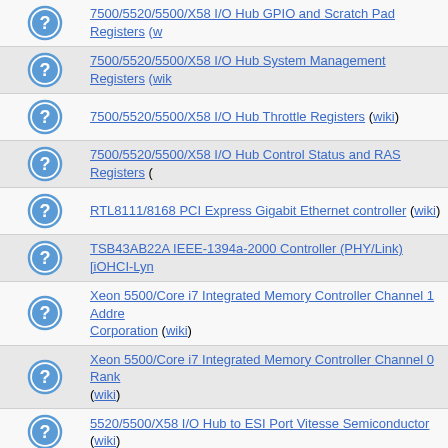7500/5520/5500/X58 I/O Hub GPIO and Scratch Pad Registers (w...
7500/5520/5500/X58 I/O Hub System Management Registers (wik...
7500/5520/5500/X58 I/O Hub Throttle Registers (wiki)
7500/5520/5500/X58 I/O Hub Control Status and RAS Registers (...
RTL8111/8168 PCI Express Gigabit Ethernet controller (wiki)
TSB43AB22A IEEE-1394a-2000 Controller (PHY/Link) [iOHCI-Lyn...
Xeon 5500/Core i7 Integrated Memory Controller Channel 1 Addre... Corporation (wiki)
Xeon 5500/Core i7 Integrated Memory Controller Channel 0 Rank... (wiki)
5520/5500/X58 I/O Hub to ESI Port Vitesse Semiconductor (wiki)
Xeon 5500/Core i7 Integrated Memory Controller Test Registers In...
Xeon 5500/Core i7 Integrated Memory Controller Channel 1 Therm... Corporation (wiki)
Xeon 5500/Core i7 Integrated Memory Controller Channel 0 Addre... Corporation (wiki)
Xeon 5500/Core i7 Integrated Memory Controller Channel 2 Contr... (wiki)